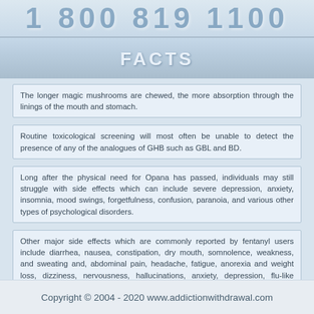[Figure (other): Partial banner/header image with large stylized text, cut off at top of page]
FACTS
The longer magic mushrooms are chewed, the more absorption through the linings of the mouth and stomach.
Routine toxicological screening will most often be unable to detect the presence of any of the analogues of GHB such as GBL and BD.
Long after the physical need for Opana has passed, individuals may still struggle with side effects which can include severe depression, anxiety, insomnia, mood swings, forgetfulness, confusion, paranoia, and various other types of psychological disorders.
Other major side effects which are commonly reported by fentanyl users include diarrhea, nausea, constipation, dry mouth, somnolence, weakness, and sweating and, abdominal pain, headache, fatigue, anorexia and weight loss, dizziness, nervousness, hallucinations, anxiety, depression, flu-like symptoms, indigestion, shortness of breath, hypoventilation, apnea, and urinary retention.
Copyright © 2004 - 2020 www.addictionwithdrawal.com